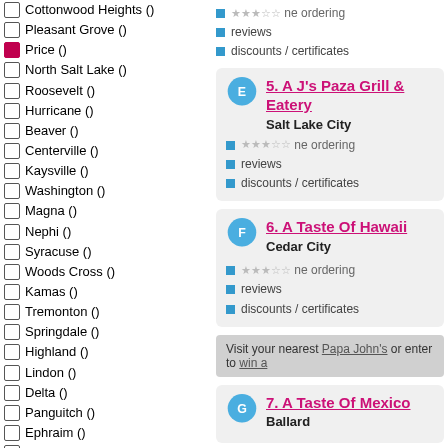Cottonwood Heights ()
Pleasant Grove ()
Price ()
North Salt Lake ()
Roosevelt ()
Hurricane ()
Beaver ()
Centerville ()
Kaysville ()
Washington ()
Magna ()
Nephi ()
Syracuse ()
Woods Cross ()
Kamas ()
Tremonton ()
Springdale ()
Highland ()
Lindon ()
Delta ()
Panguitch ()
Ephraim ()
Smithfield ()
Blanding ()
Midway ()
Salina ()
Mt Timpanogos ()
Morgan ()
Green River ()
Sugarhouse ()
Fillmore ()
Taylorsville ()
Santaquin ()
5. A J's Paza Grill & Eatery
Salt Lake City
[phone ordering] [reviews] [discounts / certificates]
6. A Taste Of Hawaii
Cedar City
[phone ordering] [reviews] [discounts / certificates]
Visit your nearest Papa John's or enter to win a
7. A Taste Of Mexico
Ballard